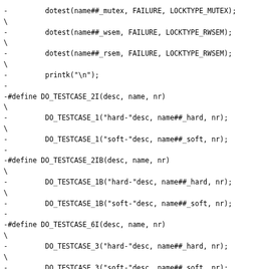-         dotest(name##_mutex, FAILURE, LOCKTYPE_MUTEX);\
-         dotest(name##_wsem, FAILURE, LOCKTYPE_RWSEM);\
-         dotest(name##_rsem, FAILURE, LOCKTYPE_RWSEM);\
-         printk("\n");
-
-#define DO_TESTCASE_2I(desc, name, nr)\
-         DO_TESTCASE_1("hard-"desc, name##_hard, nr);\
-         DO_TESTCASE_1("soft-"desc, name##_soft, nr);
-
-#define DO_TESTCASE_2IB(desc, name, nr)\
-         DO_TESTCASE_1B("hard-"desc, name##_hard, nr);\
-         DO_TESTCASE_1B("soft-"desc, name##_soft, nr);
-
-#define DO_TESTCASE_6I(desc, name, nr)\
-         DO_TESTCASE_3("hard-"desc, name##_hard, nr);\
-         DO_TESTCASE_3("soft-"desc, name##_soft, nr);
-
-#define DO_TESTCASE_6IRW(desc, name, nr)\
-         DO_TESTCASE_3RW("hard-"desc, name##_hard, nr);\